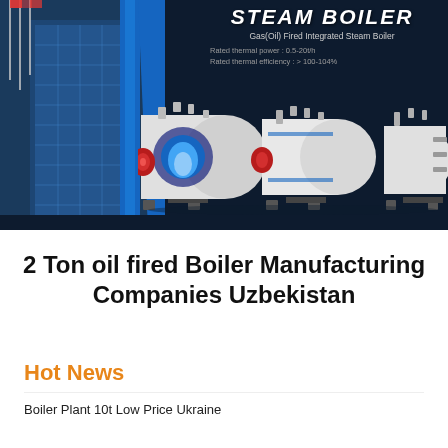[Figure (photo): Dark navy hero banner showing a modern industrial building with flags on the left, and three white-and-blue gas/oil fired integrated steam boilers displayed on the right. The top-right area shows product text: 'STEAM BOILER', 'Gas(Oil) Fired Integrated Steam Boiler', 'Rated thermal power: 0.5-20t/h', 'Rated thermal efficiency: > 100-104%'.]
2 Ton oil fired Boiler Manufacturing Companies Uzbekistan
Hot News
Boiler Plant 10t Low Price Ukraine